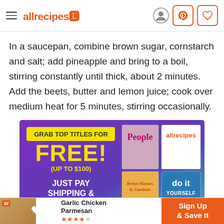allrecipes
In a saucepan, combine brown sugar, cornstarch and salt; add pineapple and bring to a boil, stirring constantly until thick, about 2 minutes. Add the beets, butter and lemon juice; cook over medium heat for 5 minutes, stirring occasionally.
[Figure (infographic): Advertisement banner: purple-to-teal gradient background. Left side: yellow box 'GRAB TOP TITLES FOR' text, large yellow 'FREE!' text, '(UP TO $100)', white bold 'JUST PAY SHIPPING & HANDLING'. Right side: magazine covers for People, allrecipes, Better Homes & Gardens, and Do It Yourself magazines.]
[Figure (infographic): Bottom promo bar: Garlic Chicken Parmesan recipe with orange 'ar' logo, star rating, and orange 'Sign Up & Save It' CTA button.]